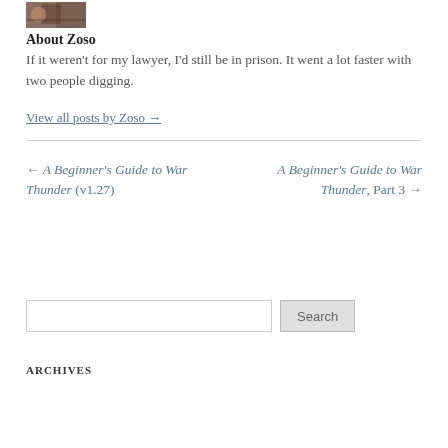[Figure (photo): Small avatar/profile photo thumbnail of a person]
About Zoso
If it weren't for my lawyer, I'd still be in prison. It went a lot faster with two people digging.
View all posts by Zoso →
← A Beginner's Guide to War Thunder (v1.27)
A Beginner's Guide to War Thunder, Part 3 →
Search
ARCHIVES